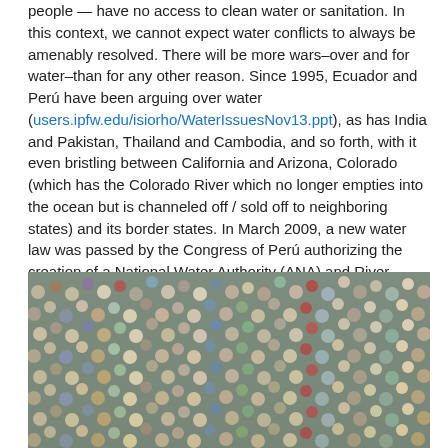people — have no access to clean water or sanitation. In this context, we cannot expect water conflicts to always be amenably resolved. There will be more wars–over and for water–than for any other reason. Since 1995, Ecuador and Perú have been arguing over water (users.ipfw.edu/isiorho/WaterIssuesNov13.ppt), as has India and Pakistan, Thailand and Cambodia, and so forth, with it even bristling between California and Arizona, Colorado (which has the Colorado River which no longer empties into the ocean but is channeled off / sold off to neighboring states) and its border states. In March 2009, a new water law was passed by the Congress of Perú authorizing the creation of a National Water Authority (ANA) and River Basin Councils (RBC) to implement Integrated Water Resources Management (IWRM) planning at a national level. The new law establishes a clear mandate for basin-scale water resources planning, integration of sectoral policies, participation of stakeholders, decentralization of management to the river basin level, and recognition of water as a social and economic good (http://iciwarm.org/en/about/prjPeru.cfm).
[Figure (photo): A large crowd of people, densely packed, viewed from above or at ground level — a mass gathering of diverse individuals.]